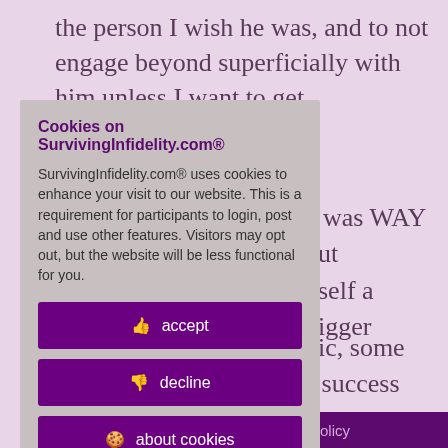the person I wish he was, and to not engage beyond superficially with him unless I want to get
e was WAY out nself a bigger
hic, some s success will nent in his
heck out of
8 PM, Tuesday, May
[Figure (screenshot): Cookie consent modal dialog on SurvivingInfidelity.com with title 'Cookies on SurvivingInfidelity.com®', body text about cookie usage, and three buttons: accept, decline, about cookies]
Policy